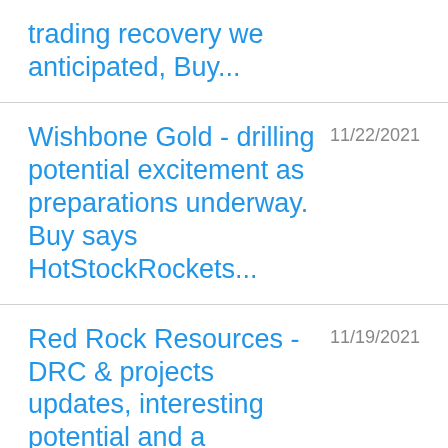trading recovery we anticipated, Buy...
Wishbone Gold - drilling potential excitement as preparations underway. Buy says HotStockRockets...
Red Rock Resources - DRC & projects updates, interesting potential and a Glencore legal bonus...